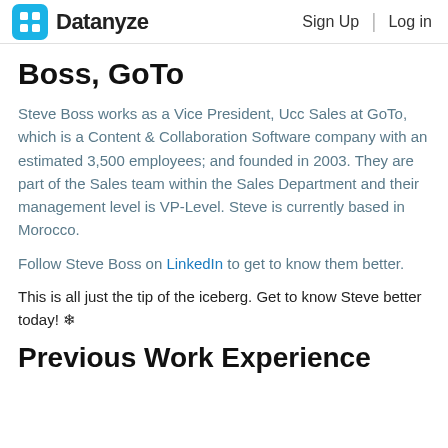Datanyze | Sign Up | Log in
Boss, GoTo
Steve Boss works as a Vice President, Ucc Sales at GoTo, which is a Content & Collaboration Software company with an estimated 3,500 employees; and founded in 2003. They are part of the Sales team within the Sales Department and their management level is VP-Level. Steve is currently based in Morocco.
Follow Steve Boss on LinkedIn to get to know them better.
This is all just the tip of the iceberg. Get to know Steve better today! ❄
Previous Work Experience